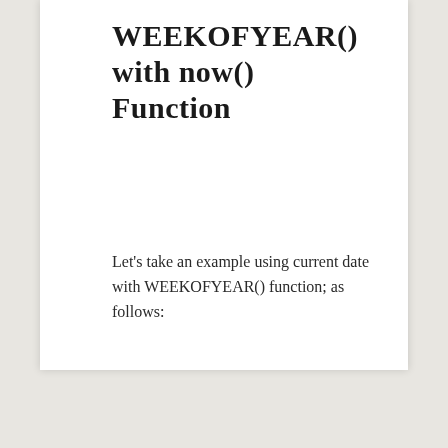WEEKOFYEAR() with now() Function
Let's take an example using current date with WEEKOFYEAR() function; as follows: